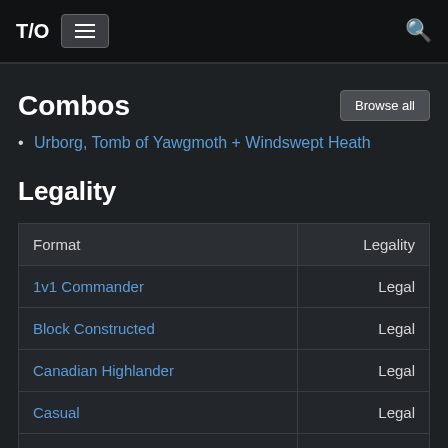T/O ☰ 🔍
Combos
Urborg, Tomb of Yawgmoth + Windswept Heath
Legality
| Format | Legality |
| --- | --- |
| 1v1 Commander | Legal |
| Block Constructed | Legal |
| Canadian Highlander | Legal |
| Casual | Legal |
| Commander / EDH | Legal |
| Commander: Rule 0 | Legal |